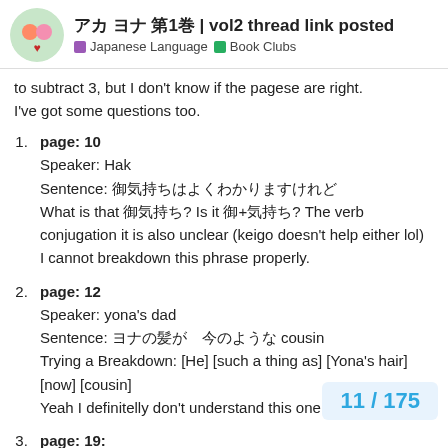アカ ヨナ 第1巻 | vol2 thread link posted — Japanese Language · Book Clubs
to subtract 3, but I don't know if the pagese are right.
I've got some questions too.
page: 10
Speaker: Hak
Sentence: [Japanese text]
What is that [Japanese]? Is it [Japanese]+[Japanese]? The verb conjugation it is also unclear (keigo doesn't help either lol)
I cannot breakdown this phrase properly.
page: 12
Speaker: yona's dad
Sentence: [Japanese text]
Trying a Breakdown: [He] [such a thing as] [Yona's hair] [now] [cousin]
Yeah I definitelly don't understand this one >.<
page: 19:
Speaker: yona
Sentence: [Japanese text]
11 / 175